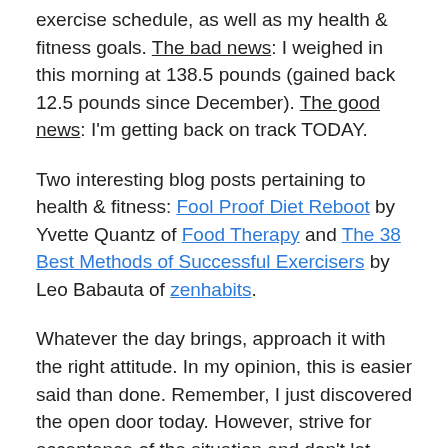exercise schedule, as well as my health & fitness goals. The bad news: I weighed in this morning at 138.5 pounds (gained back 12.5 pounds since December). The good news: I'm getting back on track TODAY.
Two interesting blog posts pertaining to health & fitness: Fool Proof Diet Reboot by Yvette Quantz of Food Therapy and The 38 Best Methods of Successful Exercisers by Leo Babauta of zenhabits.
Whatever the day brings, approach it with the right attitude. In my opinion, this is easier said than done. Remember, I just discovered the open door today. However, strive for acceptance of the situation and don't let your thoughts about the situation dictate how you will feel. Happiness!